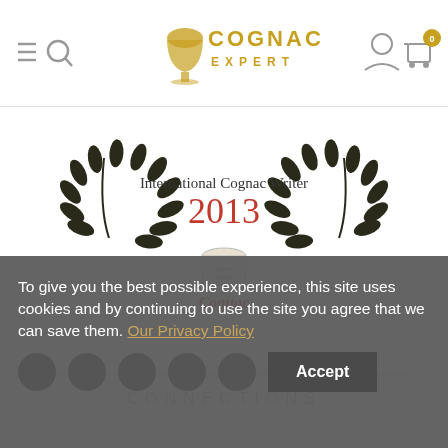[Figure (logo): Cognac Expert website header logo with hamburger menu, search icon, cognac glass icon with COGNAC EXPERT text in gold, user account icon, and cart icon with 0 badge]
[Figure (illustration): International Cognac Writer 2013 award badge with laurel wreath and cognac bureau seal]
CONNECTIONS
To give you the best possible experience, this site uses cookies and by continuing to use the site you agree that we can save them. Our Privacy Policy Accept